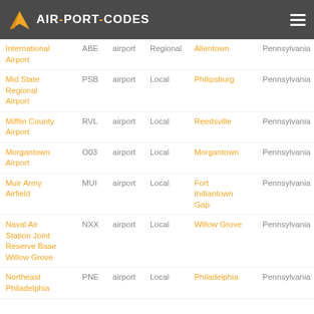AIR-PORT-CODES
| Name | Code | Type | Category | City | State |
| --- | --- | --- | --- | --- | --- |
| International Airport | ABE | airport | Regional | Allentown | Pennsylvania |
| Mid State Regional Airport | PSB | airport | Local | Philipsburg | Pennsylvania |
| Mifflin County Airport | RVL | airport | Local | Reedsville | Pennsylvania |
| Morgantown Airport | O03 | airport | Local | Morgantown | Pennsylvania |
| Muir Army Airfield | MUI | airport | Local | Fort Indiantown Gap | Pennsylvania |
| Naval Air Station Joint Reserve Base Willow Grove | NXX | airport | Local | Willow Grove | Pennsylvania |
| Northeast Philadelphia | PNE | airport | Local | Philadelphia | Pennsylvania |